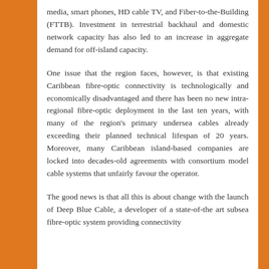media, smart phones, HD cable TV, and Fiber-to-the-Building (FTTB). Investment in terrestrial backhaul and domestic network capacity has also led to an increase in aggregate demand for off-island capacity.
One issue that the region faces, however, is that existing Caribbean fibre-optic connectivity is technologically and economically disadvantaged and there has been no new intra-regional fibre-optic deployment in the last ten years, with many of the region's primary undersea cables already exceeding their planned technical lifespan of 20 years. Moreover, many Caribbean island-based companies are locked into decades-old agreements with consortium model cable systems that unfairly favour the operator.
The good news is that all this is about change with the launch of Deep Blue Cable, a developer of a state-of-the art subsea fibre-optic system providing connectivity